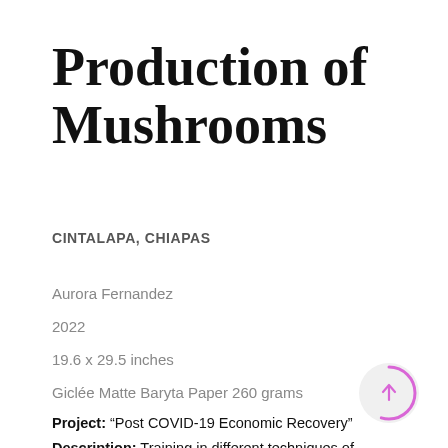Production of Mushrooms
CINTALAPA, CHIAPAS
Aurora Fernandez
2022
19.6 x 29.5 inches
Giclée Matte Baryta Paper 260 grams
Project: “Post COVID-19 Economic Recovery”
Description: Training in different techniques of